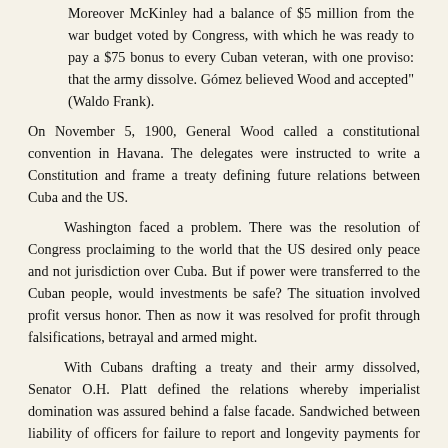Moreover McKinley had a balance of $5 million from the war budget voted by Congress, with which he was ready to pay a $75 bonus to every Cuban veteran, with one proviso: that the army dissolve. Gómez believed Wood and accepted" (Waldo Frank).
On November 5, 1900, General Wood called a constitutional convention in Havana. The delegates were instructed to write a Constitution and frame a treaty defining future relations between Cuba and the US.
Washington faced a problem. There was the resolution of Congress proclaiming to the world that the US desired only peace and not jurisdiction over Cuba. But if power were transferred to the Cuban people, would investments be safe? The situation involved profit versus honor. Then as now it was resolved for profit through falsifications, betrayal and armed might.
With Cubans drafting a treaty and their army dissolved, Senator O.H. Platt defined the relations whereby imperialist domination was assured behind a false facade. Sandwiched between liability of officers for failure to report and longevity payments for engineer battalions, was the nullification of Cuban sovereignty:
"The President is hereby authorized to allow the...